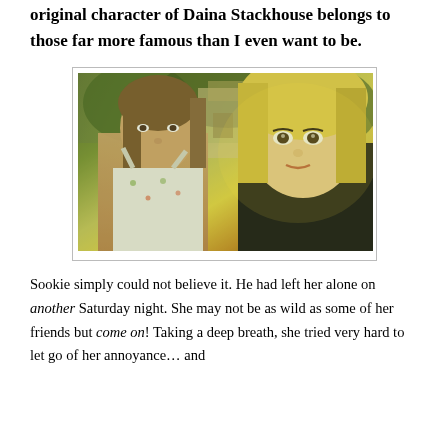original character of Daina Stackhouse belongs to those far more famous than I even want to be.
[Figure (photo): Two young women standing outdoors near a house with trees in the background. Photo has a warm, greenish-yellow tint. One woman with straight hair on the left wearing a floral top, another blonde woman on the right in dark clothing.]
Sookie simply could not believe it. He had left her alone on another Saturday night. She may not be as wild as some of her friends but come on! Taking a deep breath, she tried very hard to let go of her annoyance… and